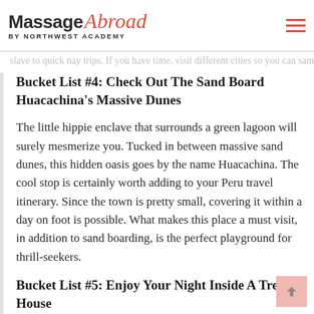Massage Abroad BY NORTHWEST ACADEMY
slave to quick nay trips. If you have time, visit different cities so you can sample what their cuisine has to offer.
Bucket List #4: Check Out The Sand Board Huacachina’s Massive Dunes
The little hippie enclave that surrounds a green lagoon will surely mesmerize you. Tucked in between massive sand dunes, this hidden oasis goes by the name Huacachina. The cool stop is certainly worth adding to your Peru travel itinerary. Since the town is pretty small, covering it within a day on foot is possible. What makes this place a must visit, in addition to sand boarding, is the perfect playground for thrill-seekers.
Bucket List #5: Enjoy Your Night Inside A Tree House